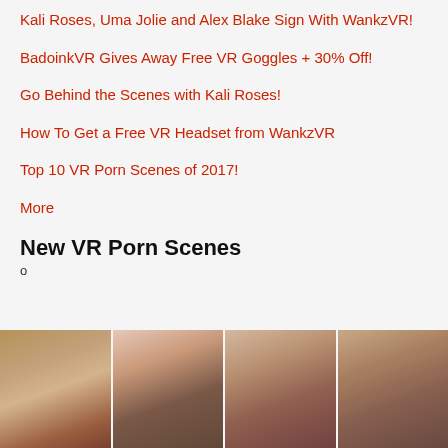Kali Roses, Uma Jolie and Alex Blake Sign With WankzVR!
BadoinkVR Gives Away Free VR Goggles + 30% Off!
Go Behind the Scenes with Kali Roses!
How To Get a Free VR Headset from WankzVR
Top 10 VR Porn Scenes of 2017!
More
New VR Porn Scenes
o
[Figure (photo): Horizontal strip of four adult content photos showing women]